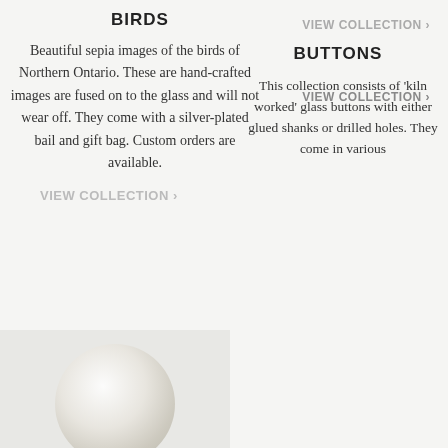BIRDS
Beautiful sepia images of the birds of Northern Ontario. These are hand-crafted images are fused on to the glass and will not wear off. They come with a silver-plated bail and gift bag. Custom orders are available.
VIEW COLLECTION >
VIEW COLLECTION >
[Figure (photo): A round glass button, white/translucent, with a pearl-like appearance, viewed from above]
VIEW COLLECTION >
BUTTONS
This collection consists of 'kiln worked' glass buttons with either glued shanks or drilled holes. They come in various